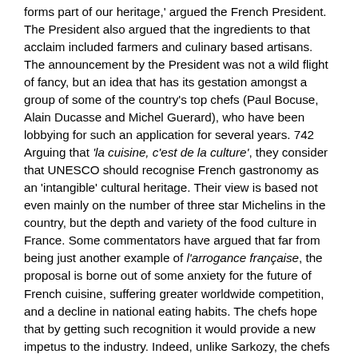forms part of our heritage,' argued the French President. The President also argued that the ingredients to that acclaim included farmers and culinary based artisans. The announcement by the President was not a wild flight of fancy, but an idea that has its gestation amongst a group of some of the country's top chefs (Paul Bocuse, Alain Ducasse and Michel Guerard), who have been lobbying for such an application for several years. 742 Arguing that 'la cuisine, c'est de la culture', they consider that UNESCO should recognise French gastronomy as an 'intangible' cultural heritage. Their view is based not even mainly on the number of three star Michelins in the country, but the depth and variety of the food culture in France. Some commentators have argued that far from being just another example of l'arrogance française, the proposal is borne out of some anxiety for the future of French cuisine, suffering greater worldwide competition, and a decline in national eating habits. The chefs hope that by getting such recognition it would provide a new impetus to the industry. Indeed, unlike Sarkozy, the chefs are not arguing that French gastronomy is the best in the world, but simply that there is a unique French food culture. Not surprisingly, Italy has been first in the fray to have something to say about the French proposal. They consider their own food is more worthy of recognition than that of France, and in evidence point to the fact that the European Union